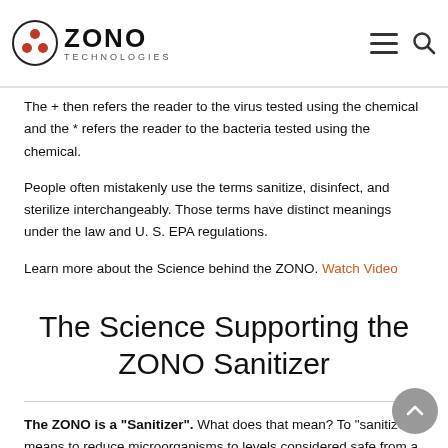ZONO TECHNOLOGIES
The + then refers the reader to the virus tested using the chemical and the * refers the reader to the bacteria tested using the chemical.
People often mistakenly use the terms sanitize, disinfect, and sterilize interchangeably. Those terms have distinct meanings under the law and U. S. EPA regulations.
Learn more about the Science behind the ZONO. Watch Video
The Science Supporting the ZONO Sanitizer
The ZONO is a “Sanitizer”. What does that mean? To “sanitize’ means to reduce microorganisms to levels considered safe from a public